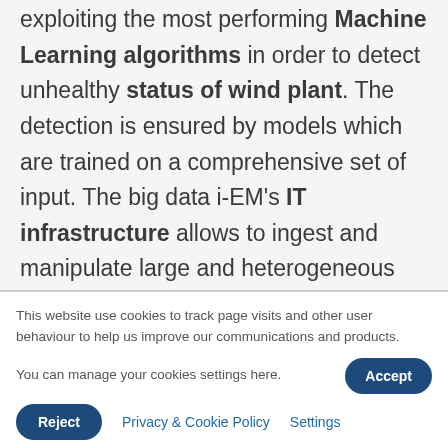exploiting the most performing Machine Learning algorithms in order to detect unhealthy status of wind plant. The detection is ensured by models which are trained on a comprehensive set of input. The big data i-EM's IT infrastructure allows to ingest and manipulate large and heterogeneous set
This website use cookies to track page visits and other user behaviour to help us improve our communications and products. You can manage your cookies settings here.